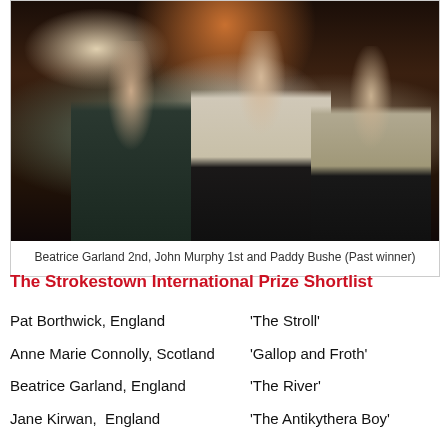[Figure (photo): Three people standing together at an indoor event: a woman on the left, a man in the center wearing a light jacket holding a glass, and a man on the right in a lighter jacket.]
Beatrice Garland 2nd, John Murphy 1st and Paddy Bushe (Past winner)
The Strokestown International Prize Shortlist
Pat Borthwick, England    'The Stroll'
Anne Marie Connolly, Scotland    'Gallop and Froth'
Beatrice Garland, England    'The River'
Jane Kirwan,  England    'The Antikythera Boy'